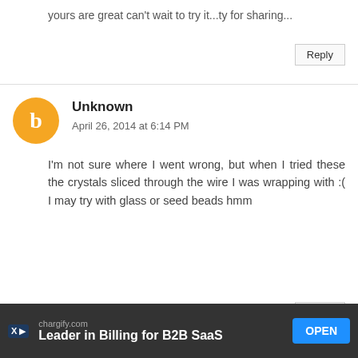yours are great can't wait to try it...ty for sharing...
Reply
Unknown
April 26, 2014 at 6:14 PM
I'm not sure where I went wrong, but when I tried these the crystals sliced through the wire I was wrapping with :( I may try with glass or seed beads hmm
Reply
Rebecca @ My Girlish Whims
April 26, 2014 at 6:50 PM
chargify.com Leader in Billing for B2B SaaS OPEN